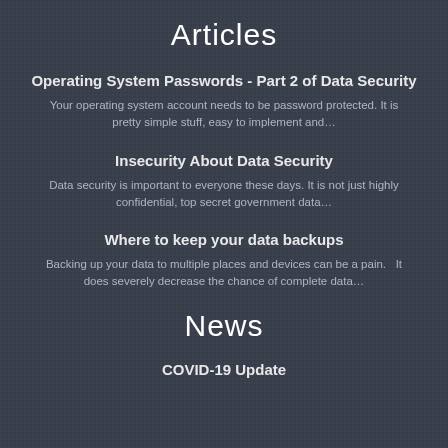Articles
Operating System Passwords - Part 2 of Data Security
Your operating system account needs to be password protected. It is pretty simple stuff, easy to implement and…
Insecurity About Data Security
Data security is important to everyone these days. It is not just highly confidential, top secret government data…
Where to keep your data backups
Backing up your data to multiple places and devices can be a pain.   It does severely decrease the chance of complete data…
News
COVID-19 Update